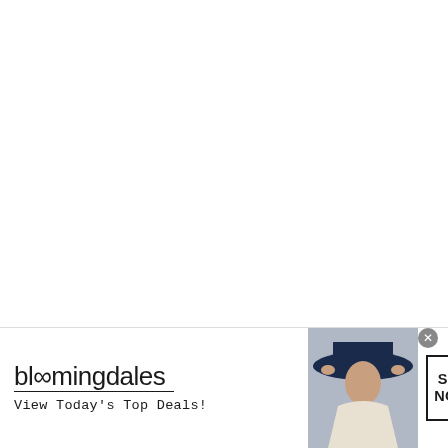[Figure (photo): White/blank area where a photo would appear, attributed to Ste Knight / Review Geek]
Ste Knight / Review Geek
Bearing in mind that this is a mid-range phone, it might not surprise you to know that OnePlus has downgraded
[Figure (screenshot): Bloomingdale's advertisement banner showing logo, tagline 'View Today's Top Deals!', a woman in a hat, and a 'SHOP NOW >' button]